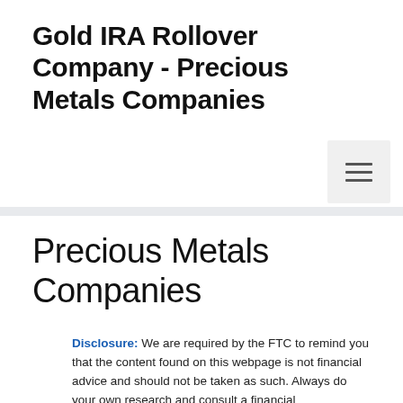Gold IRA Rollover Company - Precious Metals Companies
Precious Metals Companies
Disclosure: We are required by the FTC to remind you that the content found on this webpage is not financial advice and should not be taken as such. Always do your own research and consult a financial